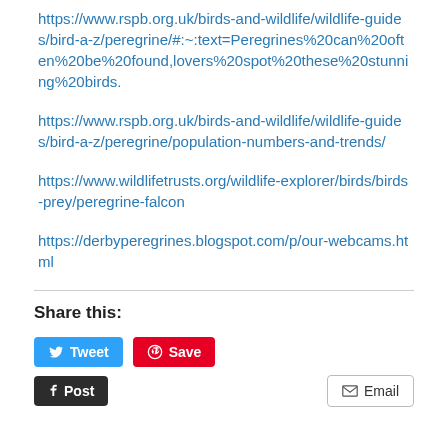https://www.rspb.org.uk/birds-and-wildlife/wildlife-guides/bird-a-z/peregrine/#:~:text=Peregrines%20can%20often%20be%20found,lovers%20spot%20these%20stunning%20birds.
https://www.rspb.org.uk/birds-and-wildlife/wildlife-guides/bird-a-z/peregrine/population-numbers-and-trends/
https://www.wildlifetrusts.org/wildlife-explorer/birds/birds-prey/peregrine-falcon
https://derbyperegrines.blogspot.com/p/our-webcams.html
Share this:
Tweet  Save  Post  Email